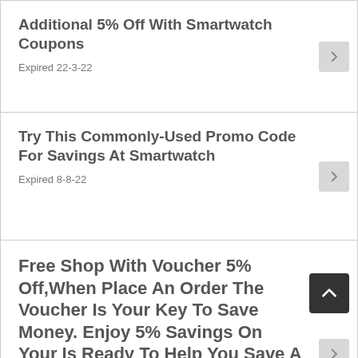Additional 5% Off With Smartwatch Coupons
Expired 22-3-22
Try This Commonly-Used Promo Code For Savings At Smartwatch
Expired 8-8-22
Free Shop With Voucher 5% Off,When Place An Order The Voucher Is Your Key To Save Money. Enjoy 5% Savings On Your Is Ready To Help You Save A Lot Of Money.